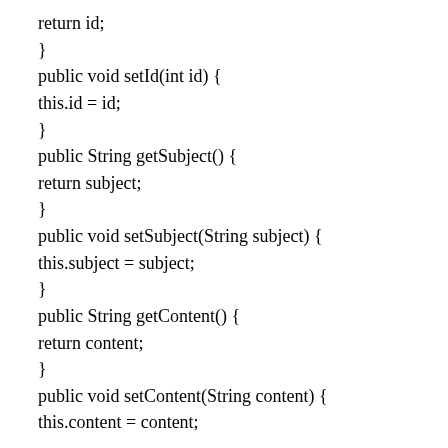return id;
}
public void setId(int id) {
this.id = id;
}
public String getSubject() {
return subject;
}
public void setSubject(String subject) {
this.subject = subject;
}
public String getContent() {
return content;
}
public void setContent(String content) {
this.content = content;